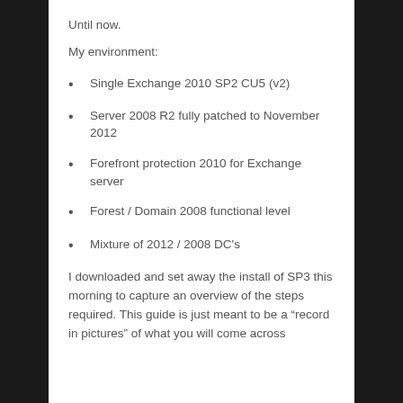Until now.
My environment:
Single Exchange 2010 SP2 CU5 (v2)
Server 2008 R2 fully patched to November 2012
Forefront protection 2010 for Exchange server
Forest / Domain 2008 functional level
Mixture of 2012 / 2008 DC's
I downloaded and set away the install of SP3 this morning to capture an overview of the steps required. This guide is just meant to be a “record in pictures” of what you will come across